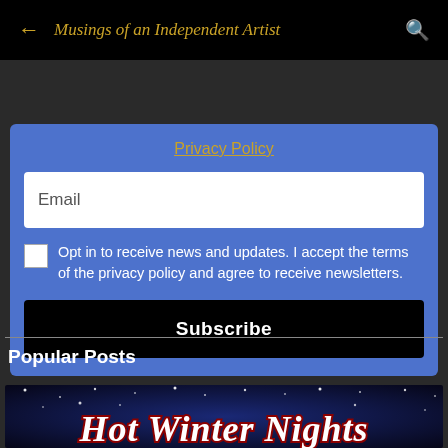← Musings of an Independent Artist 🔍
Privacy Policy
Email
Opt in to receive news and updates. I accept the terms of the privacy policy and agree to receive newsletters.
Subscribe
Popular Posts
[Figure (photo): Hot Winter Nights promotional image with decorative text on a dark starry background]